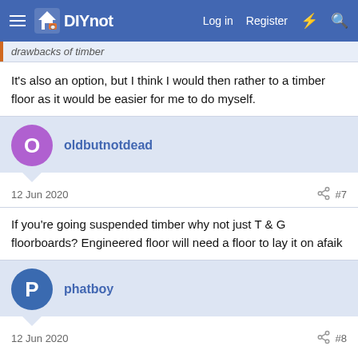DIYnot — Log in  Register
drawbacks of timber
It's also an option, but I think I would then rather to a timber floor as it would be easier for me to do myself.
oldbutnotdead
12 Jun 2020  #7
If you're going suspended timber why not just T & G floorboards? Engineered floor will need a floor to lay it on afaik
phatboy
12 Jun 2020  #8